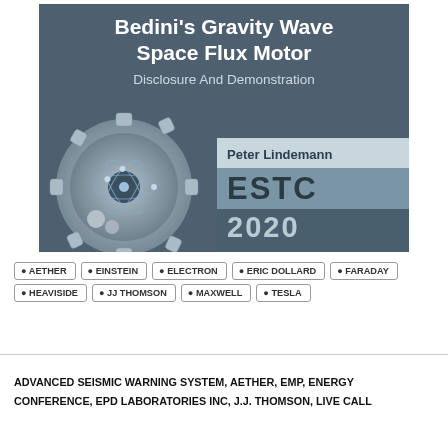[Figure (illustration): Book/product cover for 'Bedini's Gravity Wave Space Flux Motor – Disclosure And Demonstration' presented by Peter Lindemann at ESTC 2020. Dark steel-blue background with white/bold title text, subtitle, author name band, ESTC logo and 2020 year band, plus a gear and atomic illustration on the left side.]
AETHER
EINSTEIN
ELECTRON
ERIC DOLLARD
FARADAY
HEAVISIDE
JJ THOMSON
MAXWELL
TESLA
ADVANCED SEISMIC WARNING SYSTEM, AETHER, EMP, ENERGY CONFERENCE, EPD LABORATORIES INC, J.J. THOMSON, LIVE CALL